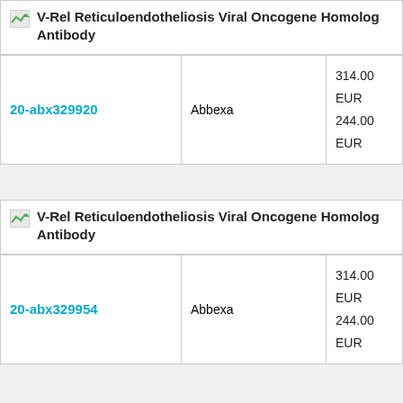V-Rel Reticuloendotheliosis Viral Oncogene Homolog Antibody
| ID | Supplier | Price |
| --- | --- | --- |
| 20-abx329920 | Abbexa | 314.00 EUR 244.00 EUR |
V-Rel Reticuloendotheliosis Viral Oncogene Homolog Antibody
| ID | Supplier | Price |
| --- | --- | --- |
| 20-abx329954 | Abbexa | 314.00 EUR 244.00 EUR |